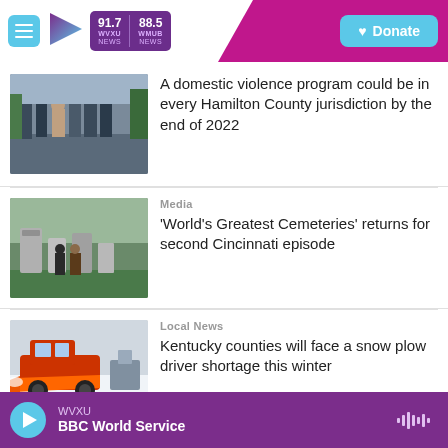WVXU 91.7 NEWS | WMUB 88.5 NEWS | Donate
[Figure (photo): Group of people including police officers and a woman in a dress standing outdoors]
A domestic violence program could be in every Hamilton County jurisdiction by the end of 2022
[Figure (photo): Two men standing among gravestones in a cemetery]
Media
'World's Greatest Cemeteries' returns for second Cincinnati episode
[Figure (photo): Orange snow plow clearing snow from a road]
Local News
Kentucky counties will face a snow plow driver shortage this winter
WVXU | BBC World Service